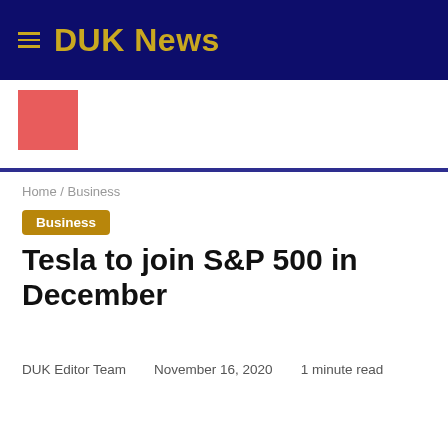DUK News
Home / Business
Business
Tesla to join S&P 500 in December
DUK Editor Team   November 16, 2020   1 minute read